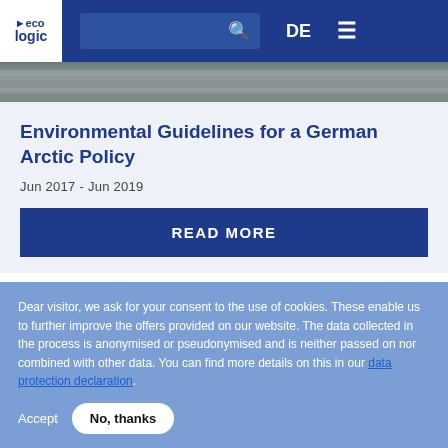eco logic | DE | search | menu
[Figure (photo): Arctic landscape hero image strip showing ice/snow]
Environmental Guidelines for a German Arctic Policy
Jun 2017 - Jun 2019
READ MORE
Dear visitor, we ask for your consent to the use of cookies. These enable us to further improve the offers provided on our website. The data collected in the process is anonymised or pseudonymised and is neither passed on nor combined with other data. You can find more details on this in our data protection declaration.
Accept | No, thanks